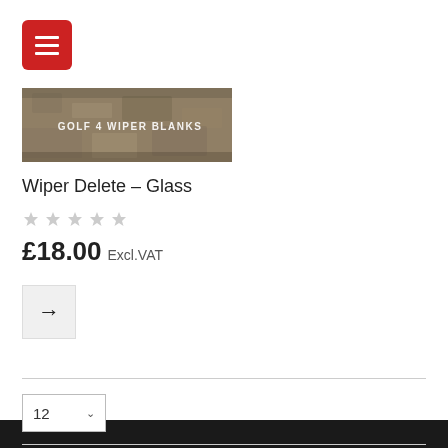[Figure (screenshot): Red hamburger menu button icon with three white horizontal lines on red rounded square background]
[Figure (photo): Product image showing a sandy/gravel textured surface with text 'GOLF 4 WIPER BLANKS' overlaid in white capital letters]
Wiper Delete – Glass
[Figure (other): Five empty grey star rating icons indicating no rating]
£18.00 Excl.VAT
[Figure (other): Grey square button with right-pointing arrow]
[Figure (other): Dropdown selector showing 12 with chevron]
12